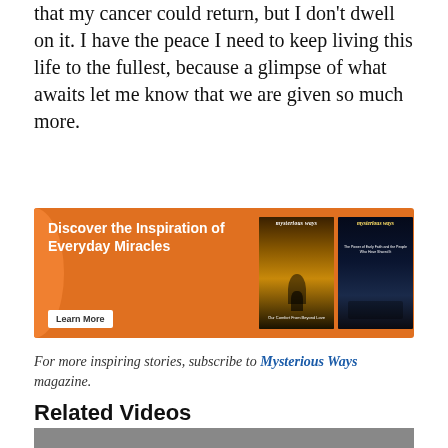that my cancer could return, but I don't dwell on it. I have the peace I need to keep living this life to the fullest, because a glimpse of what awaits let me know that we are given so much more.
[Figure (illustration): Orange advertisement banner for Mysterious Ways magazine featuring bold white text 'Discover the Inspiration of Everyday Miracles', a Learn More button, and two magazine covers on the right side.]
For more inspiring stories, subscribe to Mysterious Ways magazine.
Related Videos
[Figure (photo): Partial thumbnail of a video, showing a person's face, cropped at bottom of page.]